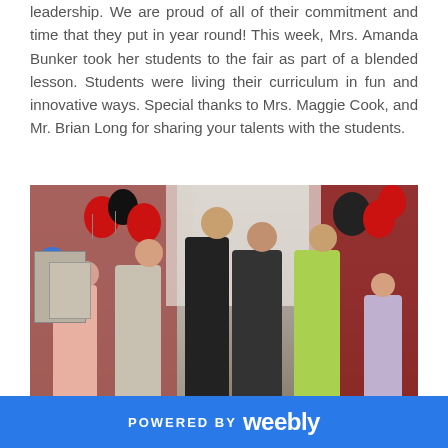leadership. We are proud of all of their commitment and time that they put in year round! This week, Mrs. Amanda Bunker took her students to the fair as part of a blended lesson. Students were living their curriculum in fun and innovative ways. Special thanks to Mrs. Maggie Cook, and Mr. Brian Long for sharing your talents with the students.
[Figure (photo): Group photo of students and a teacher at a fair booth with red and black balloons. A booth sign partially visible reads 'TON N'. Red curtains in background. Students of various ages standing together.]
POWERED BY weebly